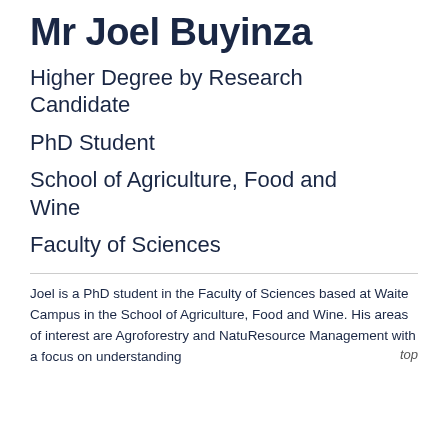Mr Joel Buyinza
Higher Degree by Research Candidate
PhD Student
School of Agriculture, Food and Wine
Faculty of Sciences
Joel is a PhD student in the Faculty of Sciences based at Waite Campus in the School of Agriculture, Food and Wine. His areas of interest are Agroforestry and Natural Resource Management with a focus on understanding